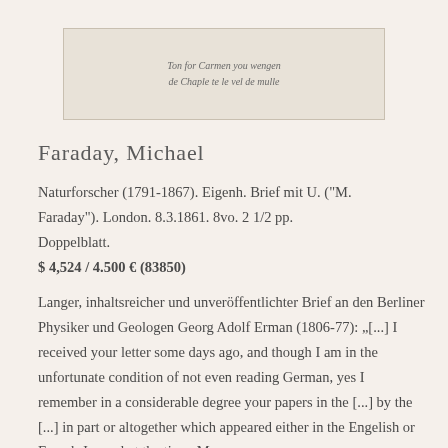[Figure (photo): Handwritten manuscript text/letter fragment in cursive script, displayed in a light-colored rectangular box against a beige background.]
Faraday, Michael
Naturforscher (1791-1867). Eigenh. Brief mit U. ("M. Faraday"). London. 8.3.1861. 8vo. 2 1/2 pp. Doppelblatt.
$ 4,524 / 4.500 € (83850)
Langer, inhaltsreicher und unveröffentlichter Brief an den Berliner Physiker und Geologen Georg Adolf Erman (1806-77): „[...] I received your letter some days ago, and though I am in the unfortunate condition of not even reading German, yes I remember in a considerable degree your papers in the [...] by the [...] in part or altogether which appeared either in the Engelish or French Journal at the time. M...